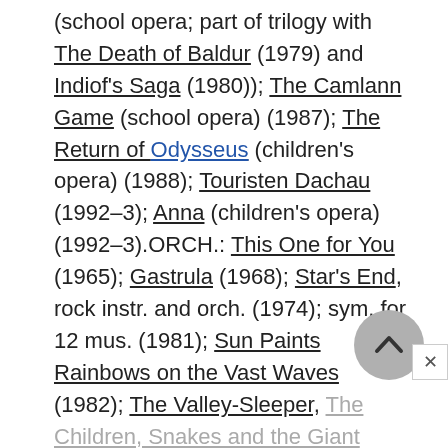(school opera; part of trilogy with The Death of Baldur (1979) and Indiof's Saga (1980)); The Camlann Game (school opera) (1987); The Return of Odysseus (children's opera) (1988); Touristen Dachau (1992–3); Anna (children's opera) (1992–3).ORCH.: This One for You (1965); Gastrula (1968); Star's End, rock instr. and orch. (1974); sym. for 12 mus. (1981); Sun Paints Rainbows on the Vast Waves (1982); The Valley-Sleeper, The Children, Snakes and the Giant